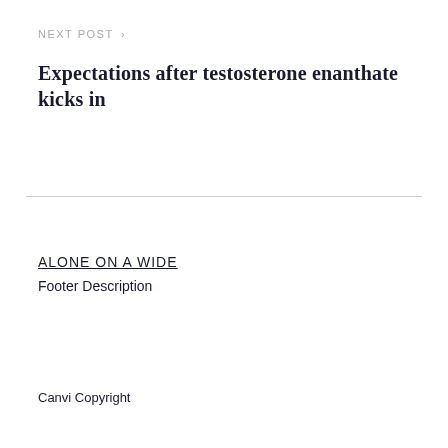NEXT POST >
Expectations after testosterone enanthate kicks in
ALONE ON A WIDE
Footer Description
Canvi Copyright